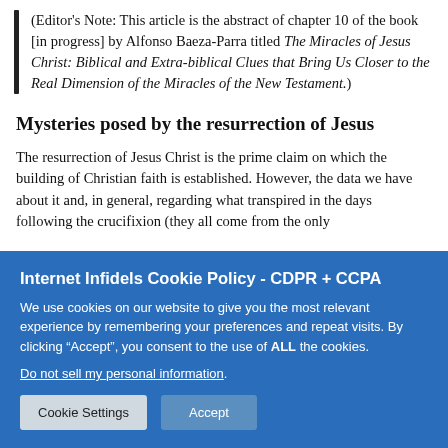(Editor's Note: This article is the abstract of chapter 10 of the book [in progress] by Alfonso Baeza-Parra titled The Miracles of Jesus Christ: Biblical and Extra-biblical Clues that Bring Us Closer to the Real Dimension of the Miracles of the New Testament.)
Mysteries posed by the resurrection of Jesus
The resurrection of Jesus Christ is the prime claim on which the building of Christian faith is established. However, the data we have about it and, in general, regarding what transpired in the days following the crucifixion (they all come from the only
Internet Infidels Cookie Policy - CDPR + CCPA
We use cookies on our website to give you the most relevant experience by remembering your preferences and repeat visits. By clicking “Accept”, you consent to the use of ALL the cookies.
Do not sell my personal information.